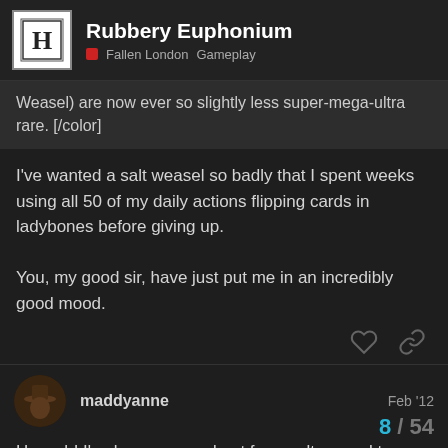Rubbery Euphonium — Fallen London Gameplay
Weasel) are now ever so slightly less super-mega-ultra rare. [/color]
I've wanted a salt weasel so badly that I spent weeks using all 50 of my daily actions flipping cards in ladybones before giving up.

You, my good sir, have just put me in an incredibly good mood.
maddyanne Feb '12
Huzzah! I've been camped out for a salt weasel too and was in despair. Learning that there's more of a chance of finding the charming creature has made me very hap[p
8 / 54